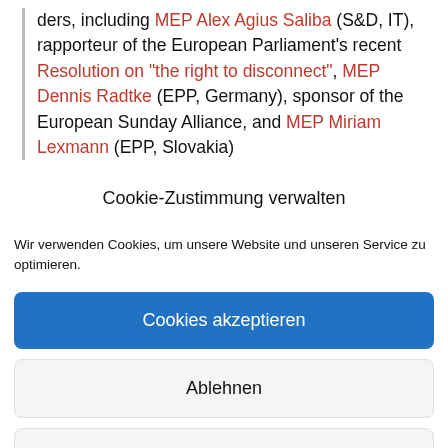ders, including MEP Alex Agius Saliba (S&D, IT), rapporteur of the European Parliament's recent Resolution on "the right to disconnect", MEP Dennis Radtke (EPP, Germany), sponsor of the European Sunday Alliance, and MEP Miriam Lexmann (EPP, Slovakia)
Cookie-Zustimmung verwalten
Wir verwenden Cookies, um unsere Website und unseren Service zu optimieren.
Cookies akzeptieren
Ablehnen
Einstellungen anzeigen